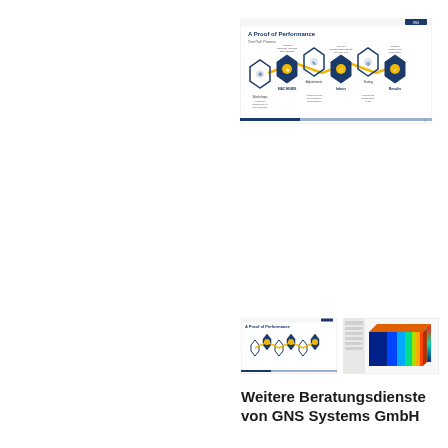[Figure (screenshot): A Proof of Performance slide showing a process flow diagram with hexagonal icons connected by a yellow/blue zig-zag line, depicting stages: Workshops, Machines, Seed, Infoss, Testing, Results]
[Figure (screenshot): Thumbnail of the same Proof of Performance slide showing hexagonal process icons]
[Figure (screenshot): Thumbnail of a 3D CFD simulation visualization showing a colorful heat map on a rectangular block]
Weitere Beratungsdienste von GNS Systems GmbH